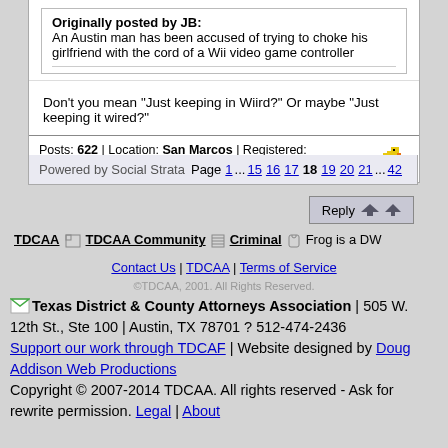Originally posted by JB: An Austin man has been accused of trying to choke his girlfriend with the cord of a Wii video game controller
Don't you mean "Just keeping in Wiird?" Or maybe "Just keeping it wired?"
Posts: 622 | Location: San Marcos | Registered: November 13, 2003
Powered by Social Strata  Page 1 ... 15 16 17 18 19 20 21 ... 42
TDCAA | TDCAA Community | Criminal | Frog is a DW
Contact Us | TDCAA | Terms of Service
©TDCAA, 2001. All Rights Reserved.
Texas District & County Attorneys Association | 505 W. 12th St., Ste 100 | Austin, TX 78701 ? 512-474-2436 Support our work through TDCAF | Website designed by Doug Addison Web Productions Copyright © 2007-2014 TDCAA. All rights reserved - Ask for rewrite permission. Legal | About